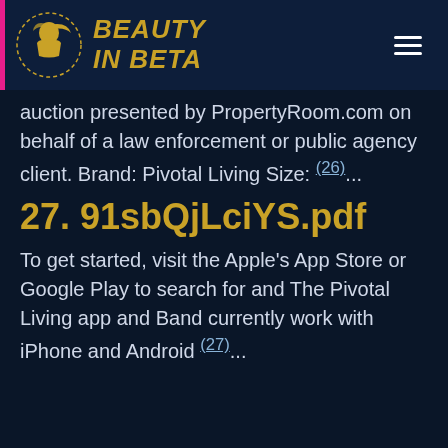BEAUTY IN BETA
auction presented by PropertyRoom.com on behalf of a law enforcement or public agency client. Brand: Pivotal Living Size: (26)...
27. 91sbQjLciYS.pdf
To get started, visit the Apple's App Store or Google Play to search for and The Pivotal Living app and Band currently work with iPhone and Android (27)...